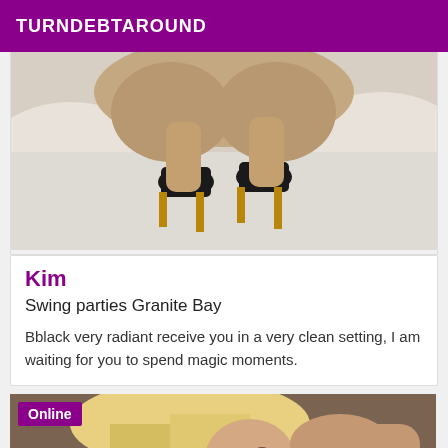TURNDEBTAROUND
[Figure (photo): Close-up photo of legs in black high heel shoes on a white surface]
Kim
Swing parties Granite Bay
Bblack very radiant receive you in a very clean setting, I am waiting for you to spend magic moments.
[Figure (photo): Blonde woman photographed from above, with an Online badge overlay]